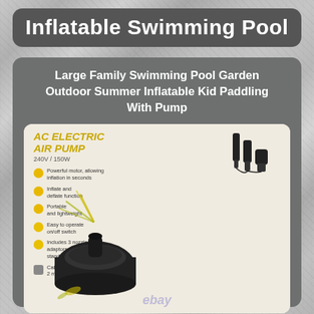Inflatable Swimming Pool
Large Family Swimming Pool Garden Outdoor Summer Inflatable Kid Paddling With Pump
[Figure (photo): AC Electric Air Pump infographic showing a black electric air pump (240V/150W) with 3 nozzle attachments. Features listed: Powerful motor allowing inflation in seconds; Inflate and deflate function; Portable and lightweight; Easy to operate on/off switch; Includes 3 nozzle adaptors to suit all standard valves; Cable length 2 meters (Approx). eBay watermark visible.]